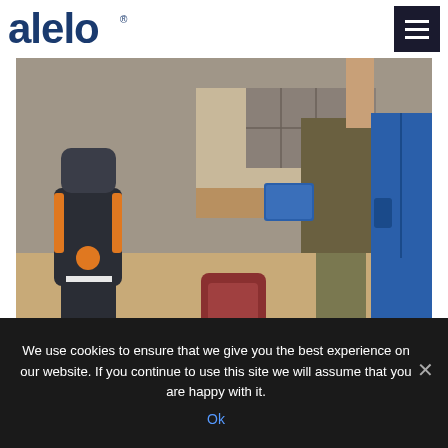alelo
[Figure (photo): Classroom scene showing a humanoid robot (gray with orange accents) standing near a wooden desk. A person in a blue zip-up jacket and another person in olive/khaki clothing are in the room. A backpack and school supplies are visible on desk and floor.]
We use cookies to ensure that we give you the best experience on our website. If you continue to use this site we will assume that you are happy with it.
Ok